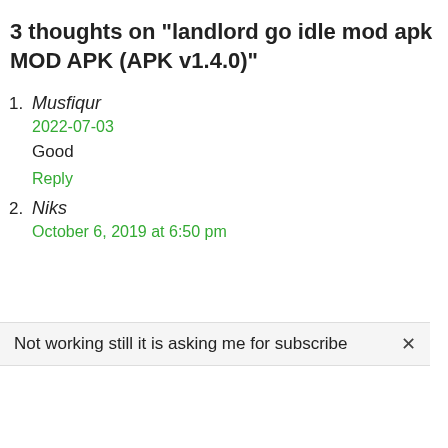3 thoughts on “landlord go idle mod apk MOD APK (APK v1.4.0)”
1. Musfiqur
2022-07-03
Good
Reply
2. Niks
October 6, 2019 at 6:50 pm
Not working still it is asking me for subscribe